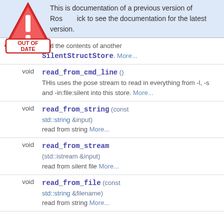This is documentation of a previous version of Rose. Click to see the documentation for the latest version.
Add the contents of another SilentStructStore. More...
void read_from_cmd_line () THis uses the pose stream to read in everything from -l, -s and -in:file:silent into this store. More...
void read_from_string (const std::string &input) read from string More...
void read_from_stream (std::istream &input) read from silent file More...
void read_from_file (const std::string &filename) read from string More...